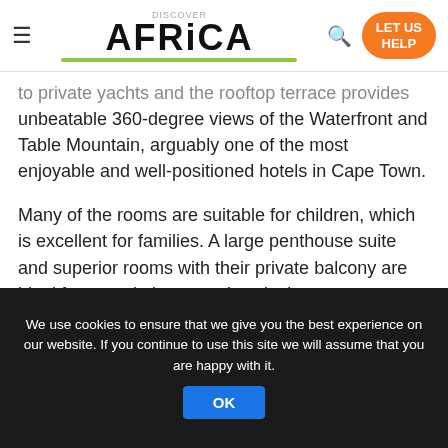AFRICA — LET US HELP
to private yachts and the rooftop terrace provides unbeatable 360-degree views of the Waterfront and Table Mountain, arguably one of the most enjoyable and well-positioned hotels in Cape Town.
Many of the rooms are suitable for children, which is excellent for families. A large penthouse suite and superior rooms with their private balcony are ideal for more intimate and exclusive accommodation requirements for guests.  The Table Mountain Luxury Suite, with unparalleled views of Table Mountain and large, spacious rooms may be the ultimate selection for a honeymoon couple.
We use cookies to ensure that we give you the best experience on our website. If you continue to use this site we will assume that you are happy with it.